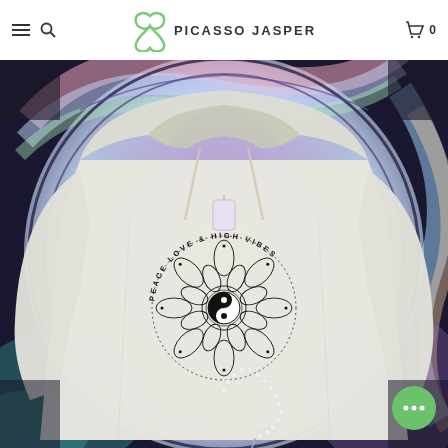PICASSO JASPER
[Figure (photo): A light grey hooded sweatshirt with a 'Peace Love & High Vibes' mandala yin-yang design printed on the front, laid flat on a colorful mandala tapestry background with purple, pink, teal, and rainbow hues. A mala bead necklace is placed on the lower portion of the hoodie.]